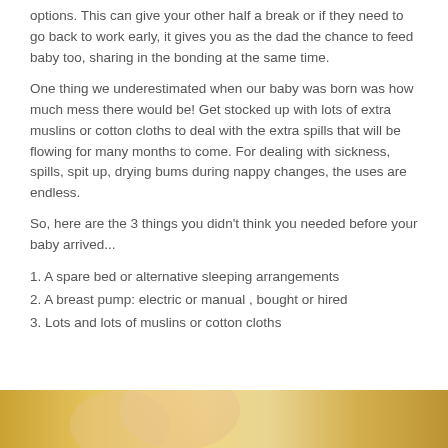options. This can give your other half a break or if they need to go back to work early, it gives you as the dad the chance to feed baby too, sharing in the bonding at the same time.
One thing we underestimated when our baby was born was how much mess there would be! Get stocked up with lots of extra muslins or cotton cloths to deal with the extra spills that will be flowing for many months to come. For dealing with sickness, spills, spit up, drying bums during nappy changes, the uses are endless.
So, here are the 3 things you didn't think you needed before your baby arrived...
1. A spare bed or alternative sleeping arrangements
2. A breast pump: electric or manual , bought or hired
3. Lots and lots of muslins or cotton cloths
[Figure (photo): Partial photo of a person visible at the bottom of the page, warm golden/yellow background tones]